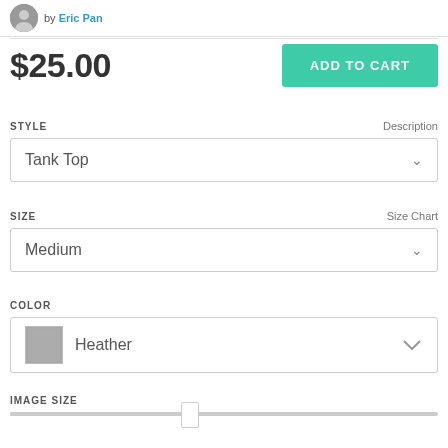by Eric Pan
$25.00
ADD TO CART
STYLE
Description
Tank Top
SIZE
Size Chart
Medium
COLOR
Heather
IMAGE SIZE